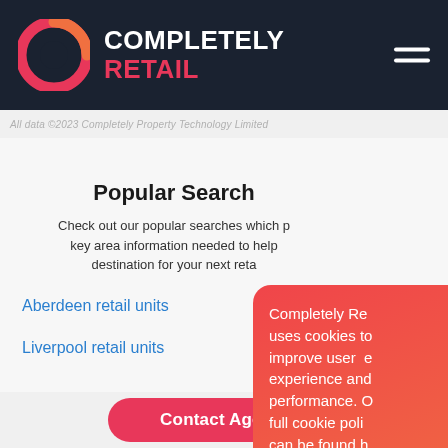COMPLETELY RETAIL
All data ©2023 Completely Property Technology Limited
Popular Search
Check out our popular searches which provide key area information needed to help find the destination for your next retail
Aberdeen retail units
Liverpool retail units
Completely Retail uses cookies to improve user experience and performance. Our full cookie policy can be found here
I accept
I do not accept
Contact Agents